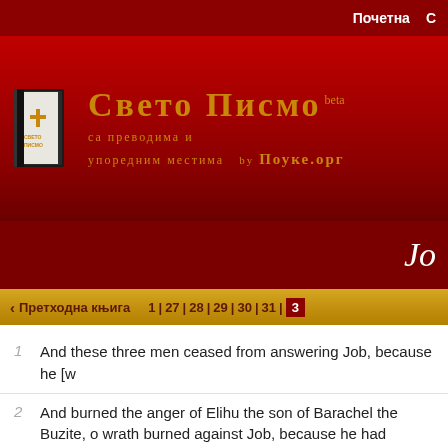Почетна
[Figure (logo): Свето Писмо logo with book icon, Serbian Orthodox Bible website header. Title: Свето Писмо beta, subtitle: са преводима и упоредним местима, by Поуке.орг]
Jo
< Претходна књига   1 | 27 | 28 | 29 | 30 | 31 | 32
1   And these three men ceased from answering Job, because he [w
2   And burned the anger of Elihu the son of Barachel the Buzite, o wrath burned against Job, because he had justified himself rathe
3   Also his wrath was kindled against his three friends, because th had condemned Job.